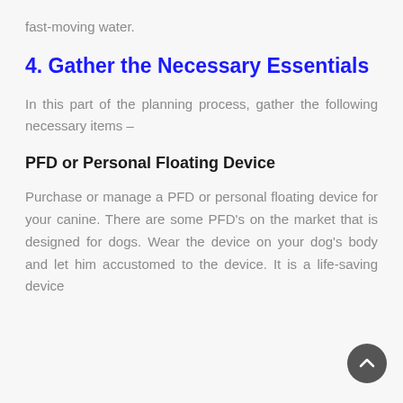fast-moving water.
4. Gather the Necessary Essentials
In this part of the planning process, gather the following necessary items –
PFD or Personal Floating Device
Purchase or manage a PFD or personal floating device for your canine. There are some PFD's on the market that is designed for dogs. Wear the device on your dog's body and let him accustomed to the device. It is a life-saving device